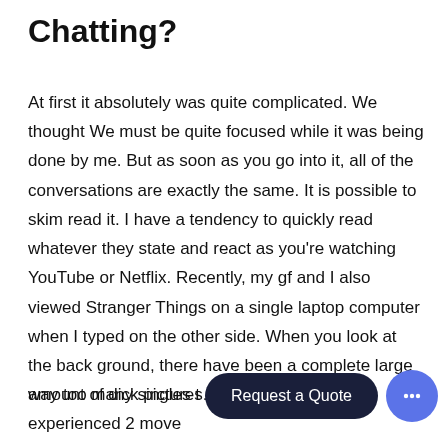Chatting?
At first it absolutely was quite complicated. We thought We must be quite focused while it was being done by me. But as soon as you go into it, all of the conversations are exactly the same. It is possible to skim read it. I have a tendency to quickly read whatever they state and react as you're watching YouTube or Netflix. Recently, my gf and I also viewed Stranger Things on a single laptop computer when I typed on the other side. When you look at the back ground, there have been a complete large amount of dick pictures.
way too many singles t… I experienced 2 move